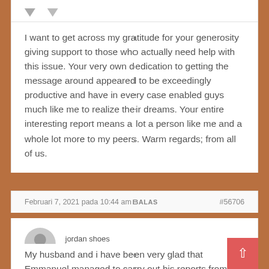I want to get across my gratitude for your generosity giving support to those who actually need help with this issue. Your very own dedication to getting the message around appeared to be exceedingly productive and have in every case enabled guys much like me to realize their dreams. Your entire interesting report means a lot a person like me and a whole lot more to my peers. Warm regards; from all of us.
Februari 7, 2021 pada 10:44 amBALAS #56706
jordan shoes
Tamu
My husband and i have been very glad that Emmanuel managed to carry out his reports from your ideas he